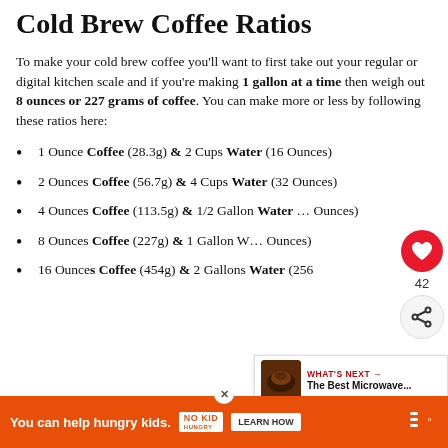Cold Brew Coffee Ratios
To make your cold brew coffee you'll want to first take out your regular or digital kitchen scale and if you're making 1 gallon at a time then weigh out 8 ounces or 227 grams of coffee. You can make more or less by following these ratios here:
1 Ounce Coffee (28.3g) & 2 Cups Water (16 Ounces)
2 Ounces Coffee (56.7g) & 4 Cups Water (32 Ounces)
4 Ounces Coffee (113.5g) & 1/2 Gallon Water … Ounces)
8 Ounces Coffee (227g) & 1 Gallon W… Ounces)
16 Ounces Coffee (454g) & 2 Gallons Water (256…